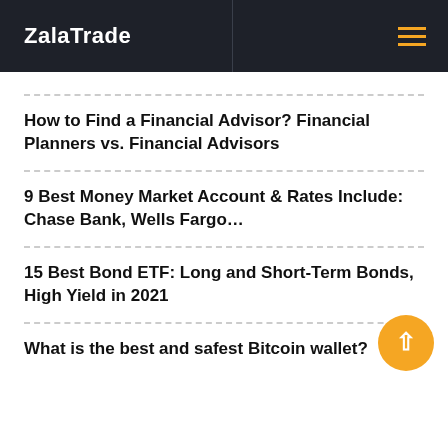ZalaTrade
How to Find a Financial Advisor? Financial Planners vs. Financial Advisors
9 Best Money Market Account & Rates Include: Chase Bank, Wells Fargo…
15 Best Bond ETF: Long and Short-Term Bonds, High Yield in 2021
What is the best and safest Bitcoin wallet?